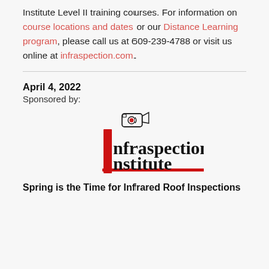Institute Level II training courses. For information on course locations and dates or our Distance Learning program, please call us at 609-239-4788 or visit us online at infraspection.com.
April 4, 2022
Sponsored by:
[Figure (logo): Infraspection Institute logo with a red stylized letter I and camera icon, with black text reading 'infraspection Institute' and a red underline]
Spring is the Time for Infrared Roof Inspections